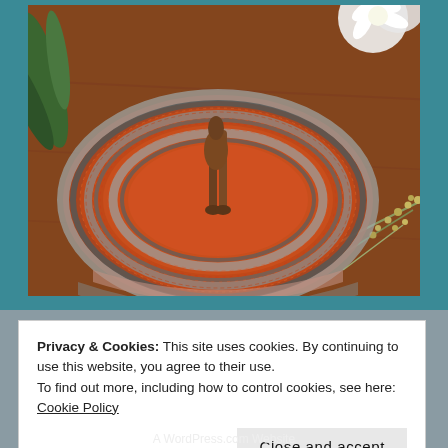[Figure (photo): Overhead view of a circular woven/beaded basket or hat with terracotta/red and gray tones, a bronze animal figurine handle on top, white flower and dried botanical sprigs on a wooden surface, set against a teal background.]
Privacy & Cookies: This site uses cookies. By continuing to use this website, you agree to their use.
To find out more, including how to control cookies, see here: Cookie Policy
Close and accept
A WordPress.com Website